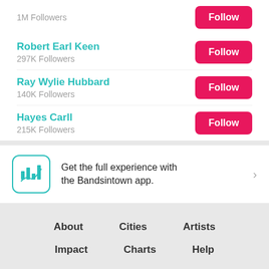1M Followers
Robert Earl Keen
297K Followers
Ray Wylie Hubbard
140K Followers
Hayes Carll
215K Followers
Get the full experience with the Bandsintown app.
About
Cities
Artists
Impact
Charts
Help